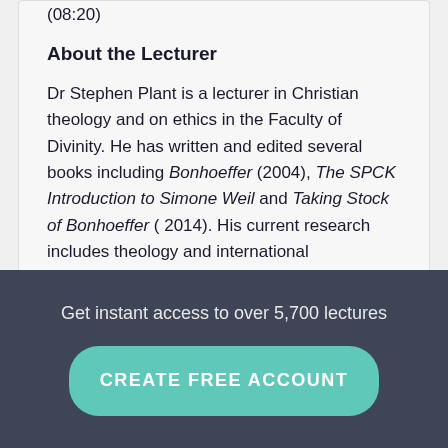(08:20)
About the Lecturer
Dr Stephen Plant is a lecturer in Christian theology and on ethics in the Faculty of Divinity. He has written and edited several books including Bonhoeffer (2004), The SPCK Introduction to Simone Weil and Taking Stock of Bonhoeffer ( 2014). His current research includes theology and international development, and the theology and life of Karl Barth.
Get instant access to over 5,700 lectures
CREATE FREE ACCOUNT